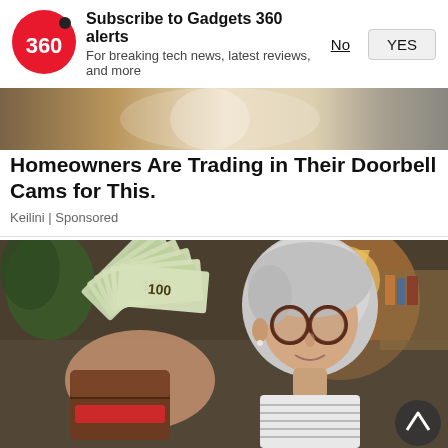[Figure (logo): Gadgets 360 logo — red circle with '360' text in white]
Subscribe to Gadgets 360 alerts
For breaking tech news, latest reviews, and more
[Figure (photo): Top portion of an advertisement image showing a decorative background]
Homeowners Are Trading in Their Doorbell Cams for This.
Keilini | Sponsored
[Figure (photo): Older woman with short gray hair and round glasses holding a wallet fanned out with cash bills]